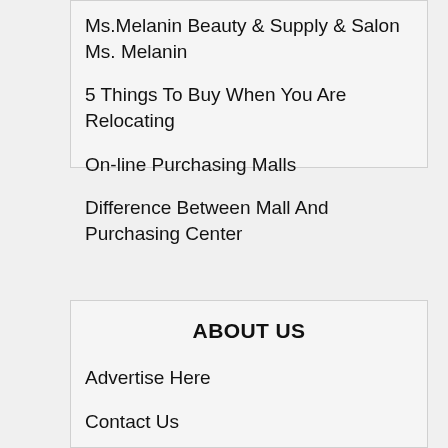Ms.Melanin Beauty & Supply & Salon Ms. Melanin
5 Things To Buy When You Are Relocating
On-line Purchasing Malls
Difference Between Mall And Purchasing Center
House Page
ABOUT US
Advertise Here
Contact Us